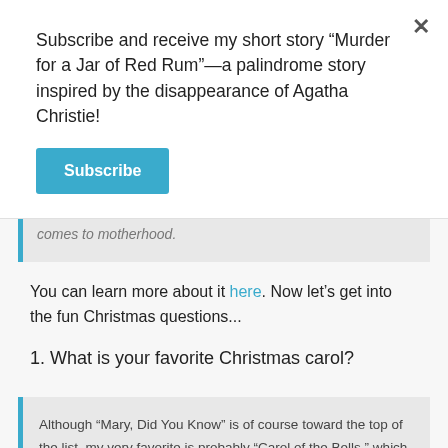Subscribe and receive my short story “Murder for a Jar of Red Rum”—a palindrome story inspired by the disappearance of Agatha Christie!
Subscribe
comes to motherhood.
You can learn more about it here. Now let’s get into the fun Christmas questions...
1. What is your favorite Christmas carol?
Although “Mary, Did You Know” is of course toward the top of the list, my very favorite is probably “Carol of the Bells,” which is one I’ve enjoyed ever since